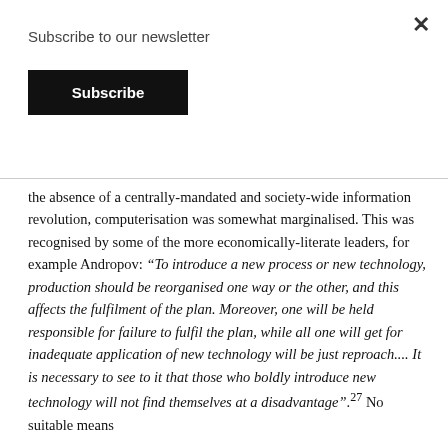Subscribe to our newsletter
Subscribe
the absence of a centrally-mandated and society-wide information revolution, computerisation was somewhat marginalised. This was recognised by some of the more economically-literate leaders, for example Andropov: “To introduce a new process or new technology, production should be reorganised one way or the other, and this affects the fulfilment of the plan. Moreover, one will be held responsible for failure to fulfil the plan, while all one will get for inadequate application of new technology will be just reproach.... It is necessary to see to it that those who boldly introduce new technology will not find themselves at a disadvantage”.27 No suitable means